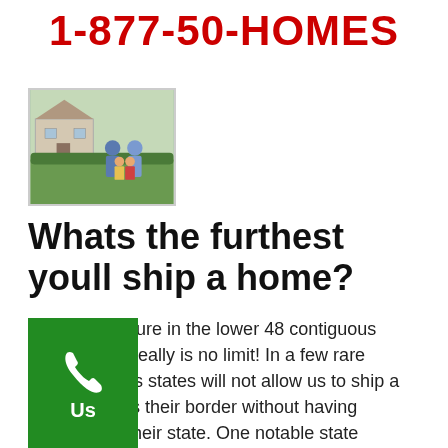1-877-50-HOMES
[Figure (photo): Family of four (parents and two children) standing in front of a house with green hedges]
Whats the furthest youll ship a home?
As long as youre in the lower 48 contiguous states, there really is no limit! In a few rare circumstances states will not allow us to ship a home accross their border without having a [dealer] in their state. One notable state that [does this is] California (no surprise). For the rest [of the US we] can almost certainly send a home to [you.] We have shipped homes next door to
[Figure (other): Green call-to-action button with phone icon and text 'Call Us']